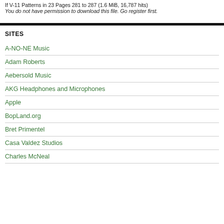If V-11 Patterns in 23 Pages 281 to 287 (1.6 MiB, 16,787 hits)
You do not have permission to download this file. Go register first.
SITES
A-NO-NE Music
Adam Roberts
Aebersold Music
AKG Headphones and Microphones
Apple
BopLand.org
Bret Primentel
Casa Valdez Studios
Charles McNeal